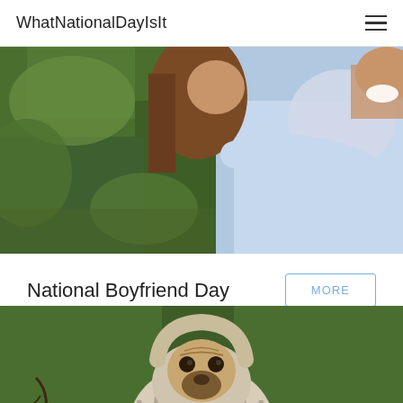WhatNationalDayIsIt
[Figure (photo): Couple laughing outdoors, man giving woman a piggyback ride, green foliage background]
National Boyfriend Day
[Figure (photo): Pug dog wrapped in a striped blanket sitting on an outdoor path surrounded by green plants]